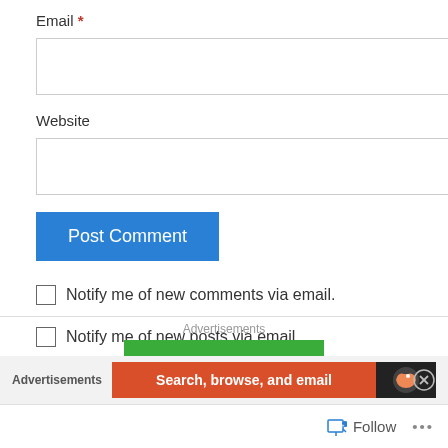Email *
Website
Post Comment
Notify me of new comments via email.
Notify me of new posts via email.
Advertisements
Advertisements
Search, browse, and email
Follow
...